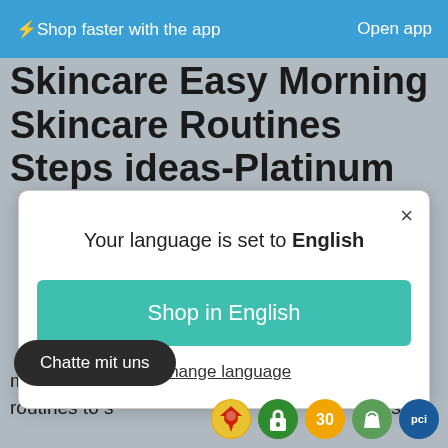⚡ Shop faster with the app    Open app
Skincare Easy Morning Skincare Routines Steps ideas-Platinum
[Figure (screenshot): Modal dialog on a shopping website. Text: 'Your language is set to English'. Button: 'Shop in English'. Link: 'Change language'. Close (×) button in top-right corner.]
many of us overlook to switch up our skincare routines to switch up our skincare routines to season.
Chatte mit uns